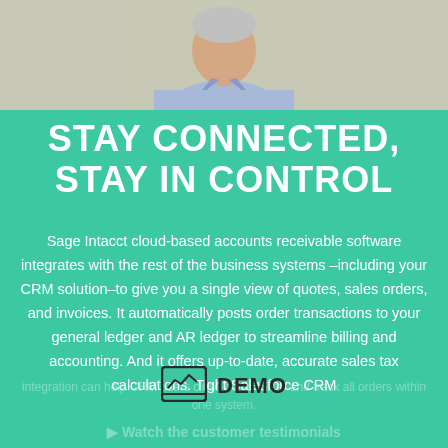[Figure (photo): Photo of a man in a light blue shirt, cropped to show torso and lower face against a light beige background]
STAY CONNECTED, STAY IN CONTROL
Sage Intacct cloud-based accounts receivable software integrates with the rest of the business systems –including your CRM solution–to give you a single view of quotes, sales orders, and invoices. It automatically posts order transactions to your general ledger and AR ledger to streamline billing and accounting. And it offers up-to-date, accurate sales tax calculations. Tight Salesforce CRM
DEMO
Watch the customer testimonials